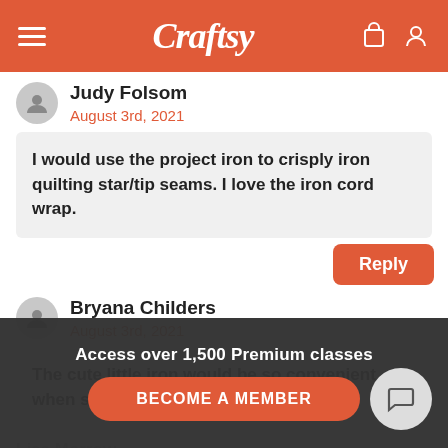Craftsy
Judy Folsom
August 3rd, 2021
I would use the project iron to crisply iron quilting star/tip seams. I love the iron cord wrap.
Reply
Bryana Childers
August 3rd, 2021
The cute little iron would be so convenient when sewing. Cute counts!
Access over 1,500 Premium classes
BECOME A MEMBER